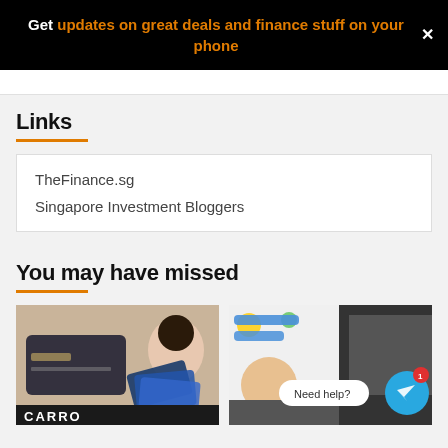Get updates on great deals and finance stuff on your phone
Links
TheFinance.sg
Singapore Investment Bloggers
You may have missed
[Figure (photo): Child holding multiple credit/debit cards with CARRO text at bottom]
[Figure (photo): Screenshot showing chat messages on a device with Telegram help button overlay]